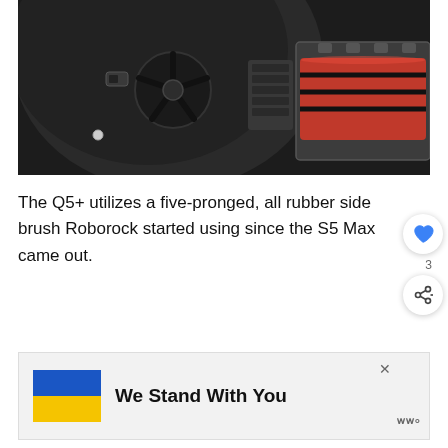[Figure (photo): Close-up underside of a Roborock Q5+ robot vacuum showing a five-pronged black rubber side brush on the left and a red main brush roller in its compartment on the right, against a dark charcoal body.]
The Q5+ utilizes a five-pronged, all rubber side brush Roborock started using since the S5 Max came out.
[Figure (infographic): Advertisement banner with Ukrainian flag colors (blue and yellow), text 'We Stand With You', close X button, and a logo mark.]